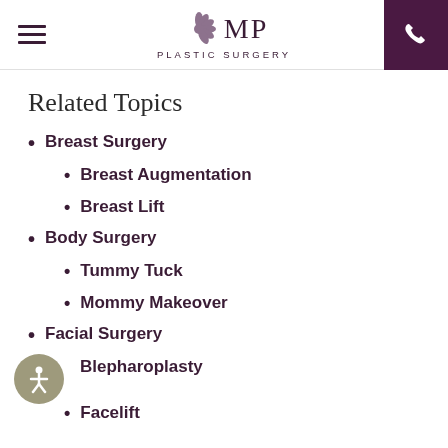MP Plastic Surgery
Related Topics
Breast Surgery
Breast Augmentation
Breast Lift
Body Surgery
Tummy Tuck
Mommy Makeover
Facial Surgery
Blepharoplasty
Facelift